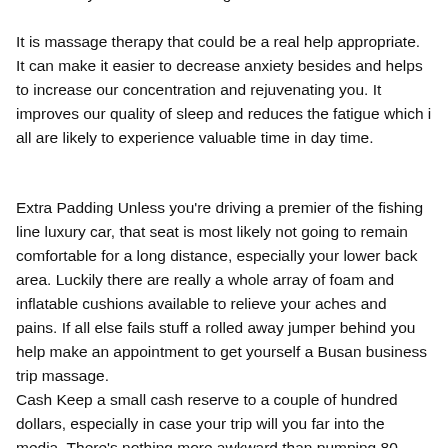and convey more time for citing.
It is massage therapy that could be a real help appropriate. It can make it easier to decrease anxiety besides and helps to increase our concentration and rejuvenating you. It improves our quality of sleep and reduces the fatigue which i all are likely to experience valuable time in day time.
Extra Padding Unless you're driving a premier of the fishing line luxury car, that seat is most likely not going to remain comfortable for a long distance, especially your lower back area. Luckily there are really a whole array of foam and inflatable cushions available to relieve your aches and pains. If all else fails stuff a rolled away jumper behind you help make an appointment to get yourself a Busan business trip massage.
Cash Keep a small cash reserve to a couple of hundred dollars, especially in case your trip will you far into the media. There's nothing more awkward than pumping 80 litres of petrol to the car